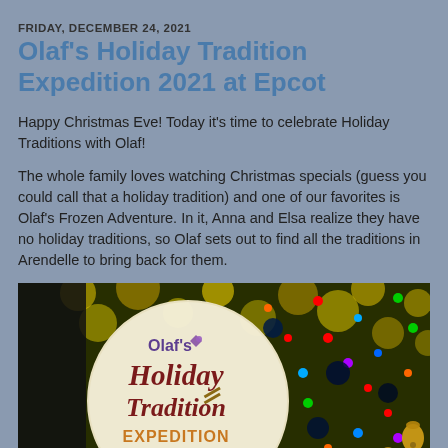FRIDAY, DECEMBER 24, 2021
Olaf's Holiday Tradition Expedition 2021 at Epcot
Happy Christmas Eve! Today it's time to celebrate Holiday Traditions with Olaf!
The whole family loves watching Christmas specials (guess you could call that a holiday tradition) and one of our favorites is Olaf's Frozen Adventure. In it, Anna and Elsa realize they have no holiday traditions, so Olaf sets out to find all the traditions in Arendelle to bring back for them.
[Figure (photo): Photo showing Olaf's Holiday Tradition Expedition logo on a circular badge (cream/beige background with purple 'Olaf's', dark red 'Holiday Tradition', and golden 'EXPEDITION' text) overlaid on a colorful Christmas tree background with multicolored lights and ornaments.]